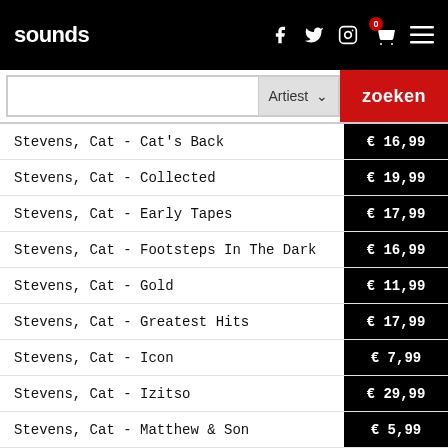sounds
Stevens, Cat - Cat's Back
Stevens, Cat - Collected
Stevens, Cat - Early Tapes
Stevens, Cat - Footsteps In The Dark
Stevens, Cat - Gold
Stevens, Cat - Greatest Hits
Stevens, Cat - Icon
Stevens, Cat - Izitso
Stevens, Cat - Matthew & Son
Stevens, Cat - Mona Bone Jakon
Stevens, Cat - Mona Bone Jakon